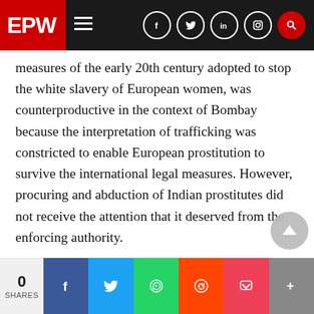EPW
measures of the early 20th century adopted to stop the white slavery of European women, was counterproductive in the context of Bombay because the interpretation of trafficking was constricted to enable European prostitution to survive the international legal measures. However, procuring and abduction of Indian prostitutes did not receive the attention that it deserved from the enforcing authority.
Small Voices
The Indian brothel workers in contrast to the European prostitutes were “classic subaltern
0 SHARES